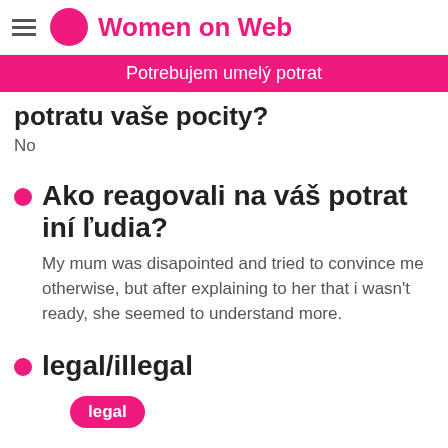Women on Web
Potrebujem umelý potrat
potratu vaše pocity?
No
Ako reagovali na váš potrat iní ľudia?
My mum was disapointed and tried to convince me otherwise, but after explaining to her that i wasn't ready, she seemed to understand more.
legal/illegal
legal
Ako to ovplyvnilo vaše...